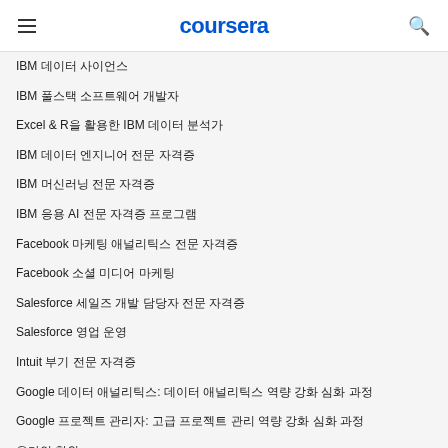coursera
IBM 데이터 사이언스
IBM 풀스택 소프트웨어 개발자
Excel & R을 활용한 IBM 데이터 분석가
IBM 데이터 엔지니어 전문 자격증
IBM 머신러닝 전문 자격증
IBM 응용 AI 전문 자격증 프로그램
Facebook 마케팅 애널리틱스 전문 자격증
Facebook 소셜 미디어 마케팅
Salesforce 세일즈 개발 담당자 전문 자격증
Salesforce 영업 운영
Intuit 부기 전문 자격증
Google 데이터 애널리틱스: 데이터 애널리틱스 역량 강화 심화 과정
Google 프로젝트 관리자: 고급 프로젝트 관리 역량 강화 심화 과정
온라인 학위
온라인 학위 전체 보기